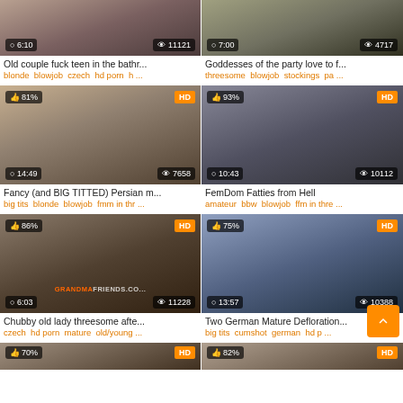[Figure (screenshot): Video thumbnail grid showing adult video listings with thumbnails, timestamps, view counts, titles and tags]
Old couple fuck teen in the bathr...
blonde blowjob czech hd porn h...
Goddesses of the party love to f...
threesome blowjob stockings pa...
Fancy (and BIG TITTED) Persian m...
big tits blonde blowjob fmm in thr...
FemDom Fatties from Hell
amateur bbw blowjob ffm in thre...
Chubby old lady threesome afte...
czech hd porn mature old/young...
Two German Mature Defloration...
big tits cumshot german hd p...